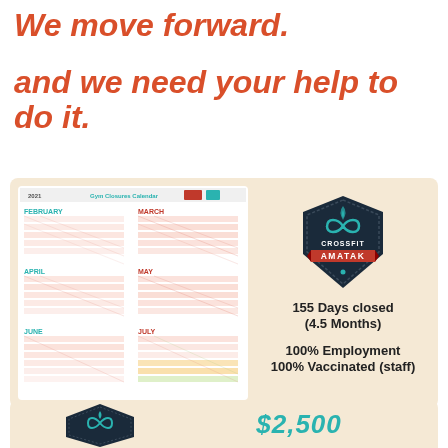We move forward.
and we need your help to do it.
[Figure (infographic): CrossFit Amatak infographic showing a gym closures calendar for February through July 2021, with a CrossFit Amatak badge logo, and statistics: 155 Days closed (4.5 Months), 100% Employment, 100% Vaccinated (staff)]
[Figure (infographic): Bottom strip showing a CrossFit Amatak badge and a teal banner with $2,500 amount (partially visible)]